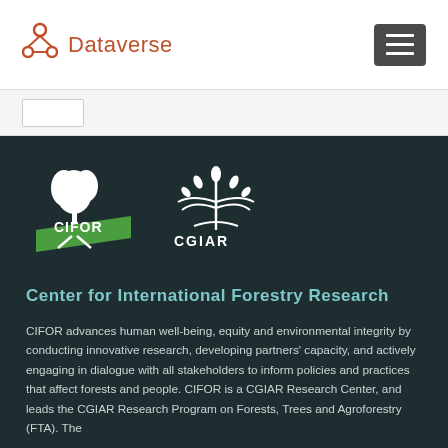[Figure (logo): Dataverse logo with circular node icon in brown/orange and 'Dataverse' text in brown]
[Figure (logo): Hamburger menu button (three horizontal lines) on dark grey background]
[Figure (logo): CIFOR logo: white tree illustration above green diagonal bar with white 'CIFOR' text]
[Figure (logo): CGIAR logo: white stylized wheat/plant emblem with 'CGIAR' text below]
Center for International Forestry Research
CIFOR advances human well-being, equity and environmental integrity by conducting innovative research, developing partners' capacity, and actively engaging in dialogue with all stakeholders to inform policies and practices that affect forests and people. CIFOR is a CGIAR Research Center, and leads the CGIAR Research Program on Forests, Trees and Agroforestry (FTA). The